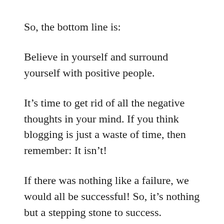So, the bottom line is:
Believe in yourself and surround yourself with positive people.
It’s time to get rid of all the negative thoughts in your mind. If you think blogging is just a waste of time, then remember: It isn’t!
If there was nothing like a failure, we would all be successful! So, it’s nothing but a stepping stone to success.
Bloggers who don’t give up after their first failure are the ones who eventually become